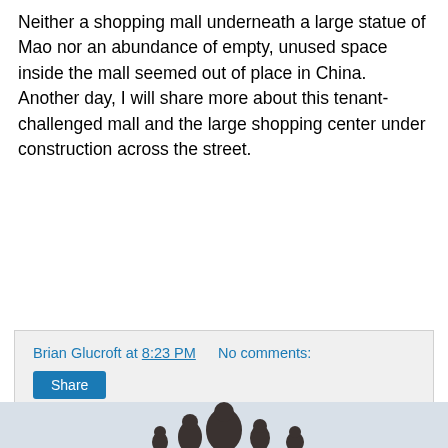Neither a shopping mall underneath a large statue of Mao nor an abundance of empty, unused space inside the mall seemed out of place in China. Another day, I will share more about this tenant-challenged mall and the large shopping center under construction across the street.
Brian Glucroft at 8:23 PM   No comments:
Share
MONDAY, MAY 16, 2016
Pieces for the 50th Anniversary of the Cultural Revolution
[Figure (photo): Black and white photograph showing bronze or dark statue figures, partially visible at bottom of page.]